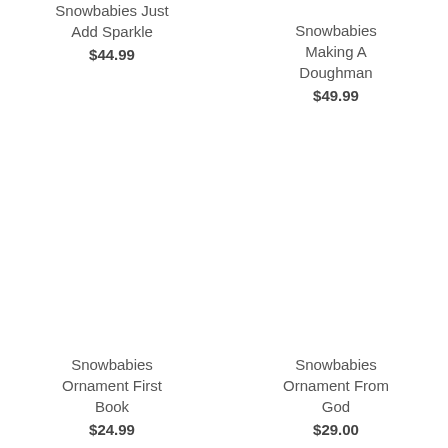Snowbabies Just Add Sparkle
$44.99
Snowbabies Making A Doughman
$49.99
Snowbabies Ornament First Book
$24.99
Snowbabies Ornament From God
$29.00